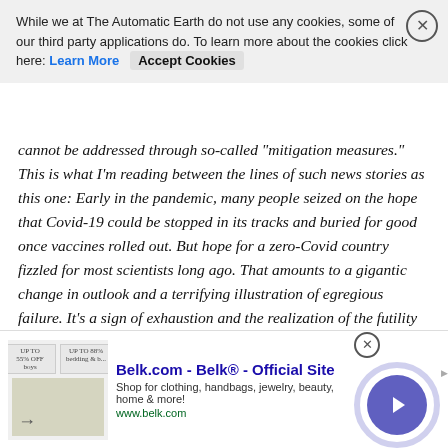cannot be addressed through so-called "mitigation measures." This is what I'm reading between the lines of such news stories as this one: Early in the pandemic, many people seized on the hope that Covid-19 could be stopped in its tracks and buried for good once vaccines rolled out. But hope for a zero-Covid country fizzled for most scientists long ago. That amounts to a gigantic change in outlook and a terrifying illustration of egregious failure. It's a sign of exhaustion and the realization of the futility of the battle. In this US in any case (if not in many other countries). But it had to come eventually.
Consider that Covid cases in both New York and Florida have reached record levels, and at some point increases in deaths are likely to follow, though not as bad as prior seasons. With both states dealing with similar trends, there is no point in the exhausting game o...
[Figure (other): Cookie consent banner: 'While we at The Automatic Earth do not use any cookies, some of our third party applications do. To learn more about the cookies click here: [Learn More] [Accept Cookies]' with a close (X) button.]
[Figure (other): Advertisement banner for Belk.com - Belk® - Official Site. Shop for clothing, handbags, jewelry, beauty, home & more! www.belk.com. Shows product images and a navigation arrow.]